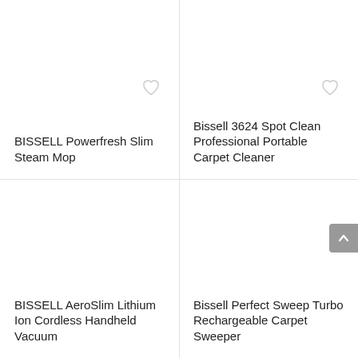BISSELL Powerfresh Slim Steam Mop
Bissell 3624 Spot Clean Professional Portable Carpet Cleaner
[Figure (illustration): Heart/wishlist icon (outline)]
[Figure (illustration): Heart/wishlist icon (outline)]
BISSELL AeroSlim Lithium Ion Cordless Handheld Vacuum
Bissell Perfect Sweep Turbo Rechargeable Carpet Sweeper